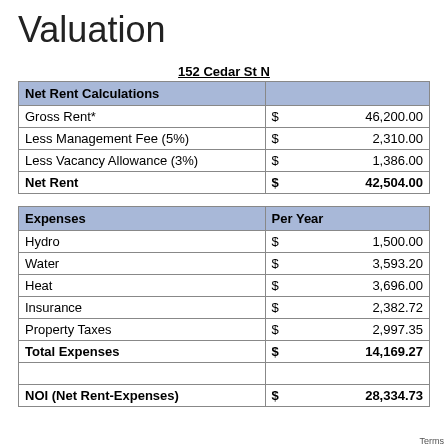Valuation
| Net Rent Calculations |  |
| --- | --- |
| Gross Rent* | $ 46,200.00 |
| Less Management Fee (5%) | $ 2,310.00 |
| Less Vacancy Allowance (3%) | $ 1,386.00 |
| Net Rent | $ 42,504.00 |
| Expenses | Per Year |
| --- | --- |
| Hydro | $ 1,500.00 |
| Water | $ 3,593.20 |
| Heat | $ 3,696.00 |
| Insurance | $ 2,382.72 |
| Property Taxes | $ 2,997.35 |
| Total Expenses | $ 14,169.27 |
|  |  |
| NOI (Net Rent-Expenses) | $ 28,334.73 |